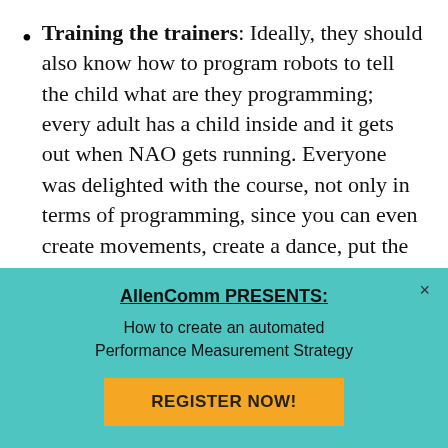Training the trainers: Ideally, they should also know how to program robots to tell the child what are they programming; every adult has a child inside and it gets out when NAO gets running. Everyone was delighted with the course, not only in terms of programming, since you can even create movements, create a dance, put the music, save it all and it will represent the choreography with the music always in the same way, without mistakes.
Future steps: Aldebaran are trying to get into the schools, so that they understand the educational
AllenComm PRESENTS: How to create an automated Performance Measurement Strategy
REGISTER NOW!